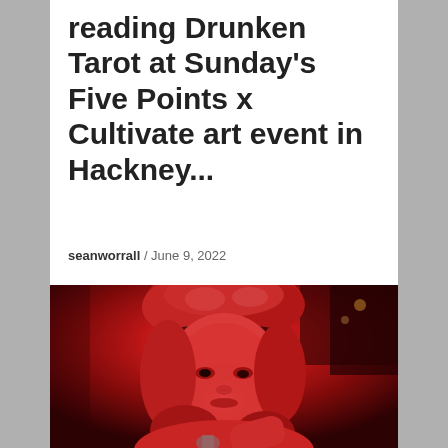reading Drunken Tarot at Sunday's Five Points x Cultivate art event in Hackney...
seanworrall / June 9, 2022
[Figure (photo): Close-up photo of a person with curly reddish hair and a headband, bathed in red lighting, holding a microphone. The image has an intense red color cast throughout.]